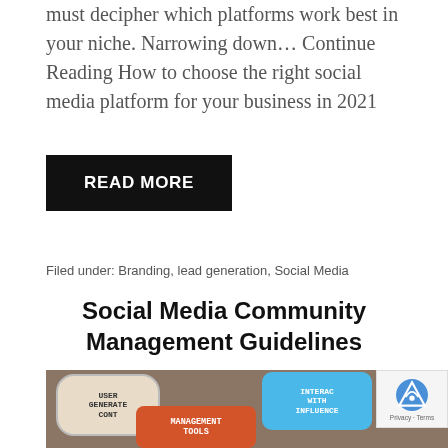must decipher which platforms work best in your niche. Narrowing down... Continue Reading How to choose the right social media platform for your business in 2021
READ MORE
Filed under: Branding, lead generation, Social Media
Social Media Community Management Guidelines
[Figure (photo): Photo of speech bubble signs on a brick wall background. Visible text includes: USER GENERATED CONT[ENT], INTERACT WITH INFLUENCE[RS], MANAGEMENT TOOLS, [CU]STOME[RS]]